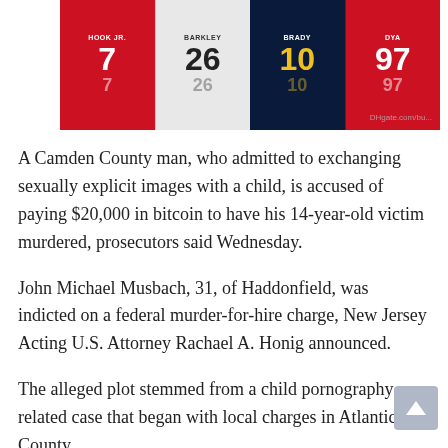[Figure (photo): Four football jerseys: #7 red (HOOK JR.), #26 white (BARKLEY), #10 dark navy (BRADY), #97 red (DYA). Sports jersey product image with watermark.]
A Camden County man, who admitted to exchanging sexually explicit images with a child, is accused of paying $20,000 in bitcoin to have his 14-year-old victim murdered, prosecutors said Wednesday.
John Michael Musbach, 31, of Haddonfield, was indicted on a federal murder-for-hire charge, New Jersey Acting U.S. Attorney Rachael A. Honig announced.
The alleged plot stemmed from a child pornography-related case that began with local charges in Atlantic County.